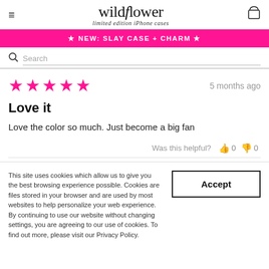wildflower limited edition iPhone cases
★ NEW: SLAY CASE + CHARM ★
Search
5 months ago
Love it
Love the color so much. Just become a big fan
Was this helpful? 0 0
This site uses cookies which allow us to give you the best browsing experience possible. Cookies are files stored in your browser and are used by most websites to help personalize your web experience. By continuing to use our website without changing settings, you are agreeing to our use of cookies. To find out more, please visit our Privacy Policy.